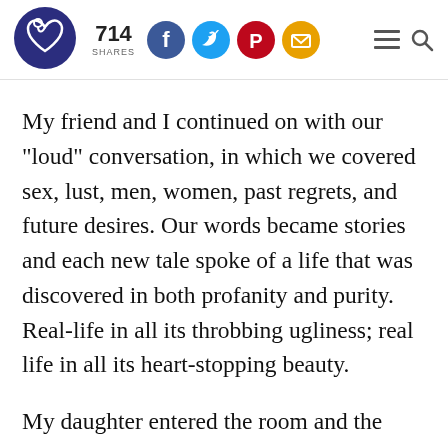[Figure (logo): Website logo: dark blue circle with a heart/loop icon in white]
714 SHARES
[Figure (infographic): Social share buttons: Facebook (blue circle), Twitter (blue circle), Pinterest (red circle), Email (yellow circle), hamburger menu icon, search icon]
My friend and I continued on with our "loud" conversation, in which we covered sex, lust, men, women, past regrets, and future desires. Our words became stories and each new tale spoke of a life that was discovered in both profanity and purity. Real-life in all its throbbing ugliness; real life in all its heart-stopping beauty.
My daughter entered the room and the